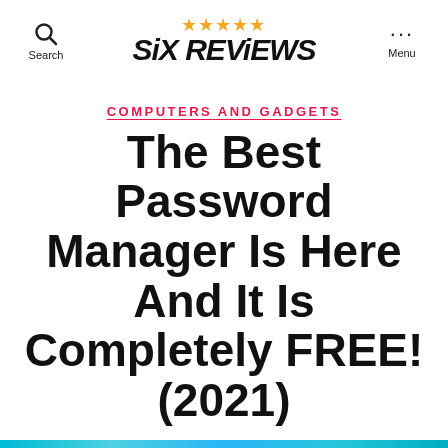SiX REViEWS — Search / Menu
COMPUTERS AND GADGETS
The Best Password Manager Is Here And It Is Completely FREE! (2021)
By Howard  August 3, 2021  No Comments